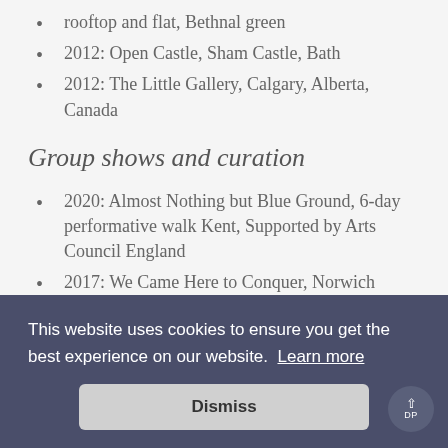rooftop and flat, Bethnal green
2012: Open Castle, Sham Castle, Bath
2012: The Little Gallery, Calgary, Alberta, Canada
Group shows and curation
2020: Almost Nothing but Blue Ground, 6-day performative walk Kent, Supported by Arts Council England
2017: We Came Here to Conquer, Norwich
[partially obscured] rs
This website uses cookies to ensure you get the best experience on our website. Learn more
Dismiss